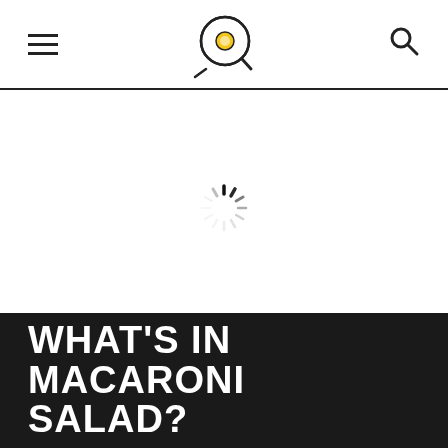[Figure (illustration): Loading spinner icon — circular dashed spinner with radial lines of varying opacity, gray and black tones, centered on white background]
WHAT'S IN MACARONI SALAD?